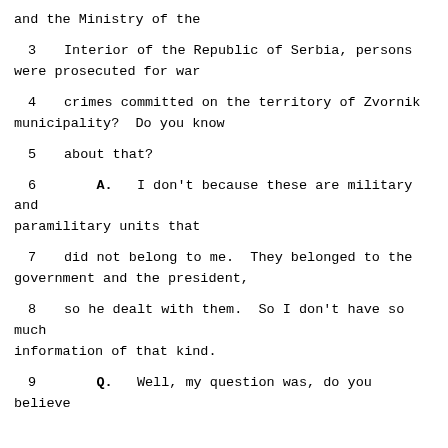and the Ministry of the
3      Interior of the Republic of Serbia, persons were prosecuted for war
4      crimes committed on the territory of Zvornik municipality?  Do you know
5      about that?
6      A.   I don't because these are military and paramilitary units that
7      did not belong to me.  They belonged to the government and the president,
8      so he dealt with them.  So I don't have so much information of that kind.
9      Q.   Well, my question was, do you believe